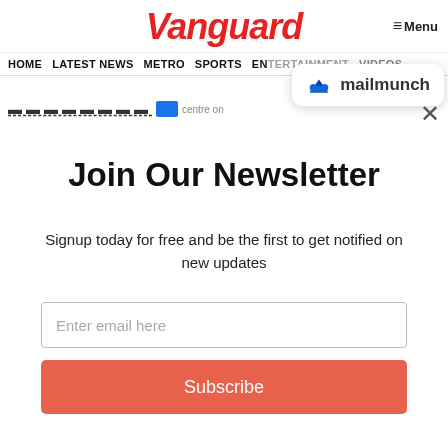Vanguard
HOME  LATEST NEWS  METRO  SPORTS  ENTERTAINMENT  VIDEOS
[Figure (logo): Mailmunch logo badge with blue M icon and text 'mailmunch']
Join Our Newsletter
Signup today for free and be the first to get notified on new updates
Enter email here
Subscribe